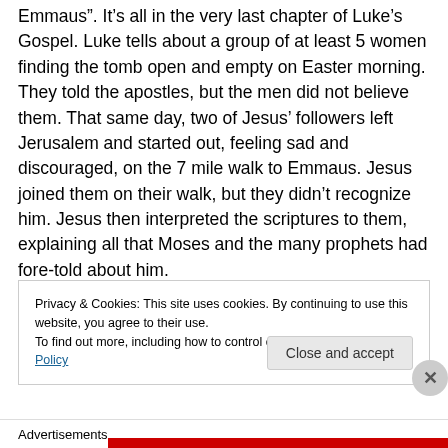Emmaus". It's all in the very last chapter of Luke's Gospel. Luke tells about a group of at least 5 women finding the tomb open and empty on Easter morning. They told the apostles, but the men did not believe them. That same day, two of Jesus' followers left Jerusalem and started out, feeling sad and discouraged, on the 7 mile walk to Emmaus. Jesus joined them on their walk, but they didn't recognize him. Jesus then interpreted the scriptures to them, explaining all that Moses and the many prophets had fore-told about him.
Privacy & Cookies: This site uses cookies. By continuing to use this website, you agree to their use.
To find out more, including how to control cookies, see here: Cookie Policy
Close and accept
Advertisements